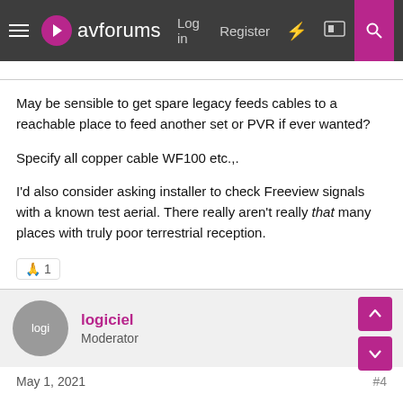avforums — Log in  Register
May be sensible to get spare legacy feeds cables to a reachable place to feed another set or PVR if ever wanted?
Specify all copper cable WF100 etc.,.
I'd also consider asking installer to check Freeview signals with a known test aerial. There really aren't really that many places with truly poor terrestrial reception.
🙏 1
logiciel
Moderator
May 1, 2021
#4
Another voice for Freeview.